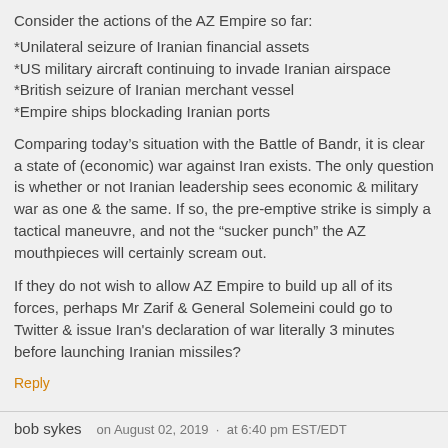Consider the actions of the AZ Empire so far:
*Unilateral seizure of Iranian financial assets
*US military aircraft continuing to invade Iranian airspace
*British seizure of Iranian merchant vessel
*Empire ships blockading Iranian ports
Comparing today’s situation with the Battle of Bandr, it is clear a state of (economic) war against Iran exists. The only question is whether or not Iranian leadership sees economic & military war as one & the same. If so, the pre-emptive strike is simply a tactical maneuvre, and not the “sucker punch” the AZ mouthpieces will certainly scream out.
If they do not wish to allow AZ Empire to build up all of its forces, perhaps Mr Zarif & General Solemeini could go to Twitter & issue Iran's declaration of war literally 3 minutes before launching Iranian missiles?
Reply
bob sykes   on August 02, 2019 ·  at 6:40 pm EST/EDT
The scale of China's investment in Iran for the development of